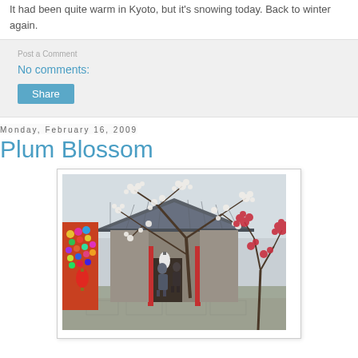It had been quite warm in Kyoto, but it's snowing today. Back to winter again.
No comments:
Share
Monday, February 16, 2009
Plum Blossom
[Figure (photo): Photo of a Japanese shrine or temple with plum blossom trees in bloom — white and red blossoms on bare branches. People walking through the shrine gate. Colorful decorations visible on the left side. Traditional tiled roof architecture.]